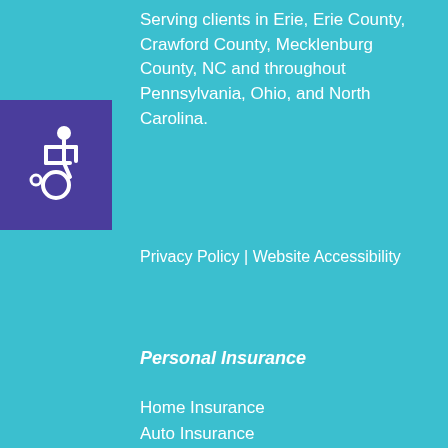[Figure (illustration): Wheelchair accessibility icon — white wheelchair symbol on dark purple/indigo square background]
Serving clients in Erie, Erie County, Crawford County, Mecklenburg County, NC and throughout Pennsylvania, Ohio, and North Carolina.
Privacy Policy | Website Accessibility
Personal Insurance
Home Insurance
Auto Insurance
Umbrella Insurance
Motorcycle Insurance
Condo Insurance
See All